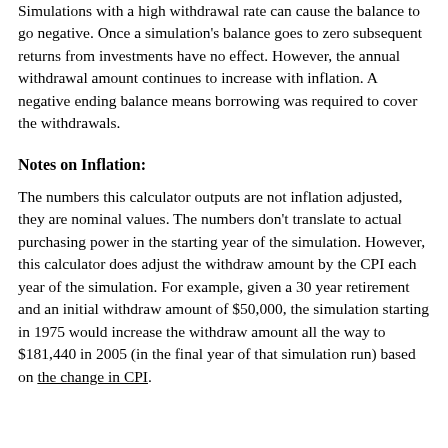Simulations with a high withdrawal rate can cause the balance to go negative. Once a simulation's balance goes to zero subsequent returns from investments have no effect. However, the annual withdrawal amount continues to increase with inflation. A negative ending balance means borrowing was required to cover the withdrawals.
Notes on Inflation:
The numbers this calculator outputs are not inflation adjusted, they are nominal values. The numbers don't translate to actual purchasing power in the starting year of the simulation. However, this calculator does adjust the withdraw amount by the CPI each year of the simulation. For example, given a 30 year retirement and an initial withdraw amount of $50,000, the simulation starting in 1975 would increase the withdraw amount all the way to $181,440 in 2005 (in the final year of that simulation run) based on the change in CPI.